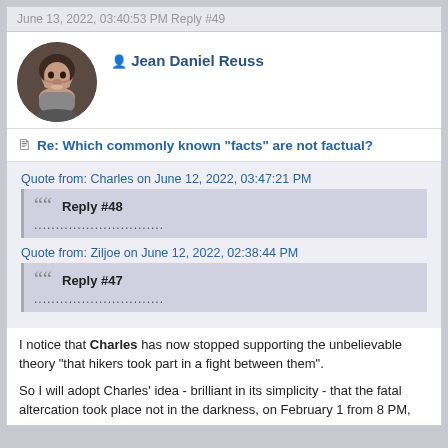June 13, 2022, 03:40:53 PM Reply #49
Jean Daniel Reuss
Re: Which commonly known "facts" are not factual?
Quote from: Charles on June 12, 2022, 03:47:21 PM
Reply #48
..............................
Quote from: Ziljoe on June 12, 2022, 02:38:44 PM
Reply #47
..............................
I notice that Charles has now stopped supporting the unbelievable theory "that hikers took part in a fight between them".
So I will adopt Charles' idea - brilliant in its simplicity - that the fatal altercation took place not in the darkness, on February 1 from 8 PM,